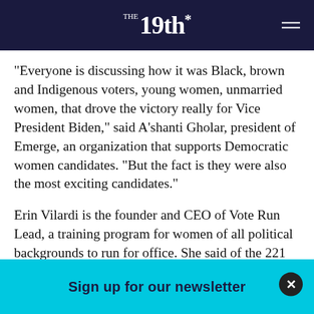THE 19th*
“Everyone is discussing how it was Black, brown and Indigenous voters, young women, unmarried women, that drove the victory really for Vice President Biden,” said A’shanti Gholar, president of Emerge, an organization that supports Democratic women candidates. “But the fact is they were also the most exciting candidates.”
Erin Vilardi is the founder and CEO of Vote Run Lead, a training program for women of all political backgrounds to run for office. She said of the 221 alumni of their training on the November ballot, 87 were w… …n won th…
Sign up for our newsletter